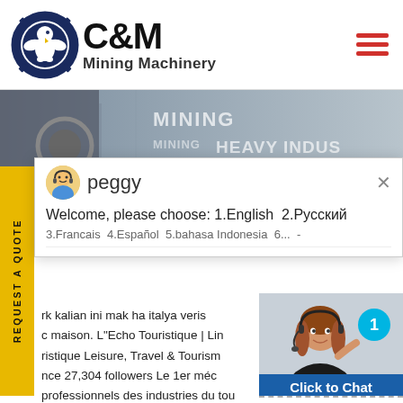[Figure (logo): C&M Mining Machinery logo with gear/eagle icon and text]
[Figure (photo): Hero banner showing mining machinery facility with text overlay: MINING HEAVY INDUS]
[Figure (screenshot): Chat popup with avatar named peggy showing welcome message: Welcome, please choose: 1.English 2.Русский 3.Francais 4.Español 5.bahasa Indonesia 6...]
rk kalian ini mak ha italya veris maison. L"Echo Touristique | Lin ristique Leisure, Travel & Tourism nce 27,304 followers Le ler méc professionnels des industries du tou DerbyVille - Horse Racing Nation - The original large scale horse racin
[Figure (photo): Customer service agent with headset, blue badge showing number 1]
Click to Chat
Enquiry